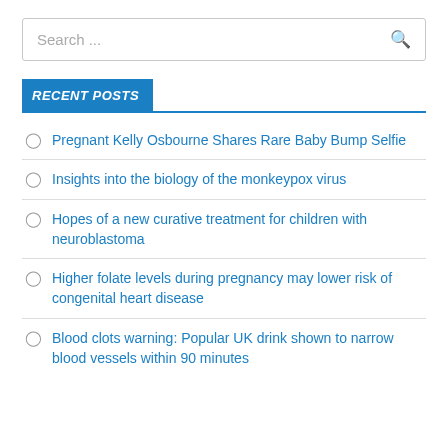Search ...
RECENT POSTS
Pregnant Kelly Osbourne Shares Rare Baby Bump Selfie
Insights into the biology of the monkeypox virus
Hopes of a new curative treatment for children with neuroblastoma
Higher folate levels during pregnancy may lower risk of congenital heart disease
Blood clots warning: Popular UK drink shown to narrow blood vessels within 90 minutes